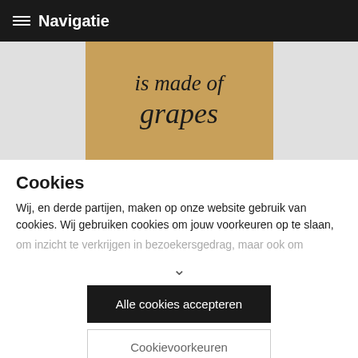≡ Navigatie
[Figure (photo): Kraft paper label with cursive text reading 'is made of grapes']
Cookies
Wij, en derde partijen, maken op onze website gebruik van cookies. Wij gebruiken cookies om jouw voorkeuren op te slaan, om inzicht te verkrijgen in bezoekersgedrag, maar ook om
∨
Alle cookies accepteren
Cookievoorkeuren